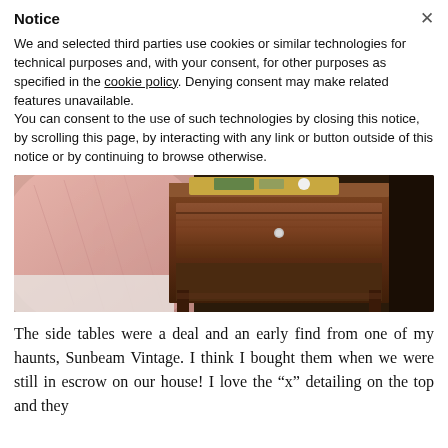Notice
We and selected third parties use cookies or similar technologies for technical purposes and, with your consent, for other purposes as specified in the cookie policy. Denying consent may make related features unavailable.
You can consent to the use of such technologies by closing this notice, by scrolling this page, by interacting with any link or button outside of this notice or by continuing to browse otherwise.
[Figure (photo): A wooden mid-century nightstand with a single drawer with a round knob, next to a bed with pink/blush bedding. Items are placed on top of the nightstand on a tray.]
The side tables were a deal and an early find from one of my haunts, Sunbeam Vintage. I think I bought them when we were still in escrow on our house! I love the “x” detailing on the top and they